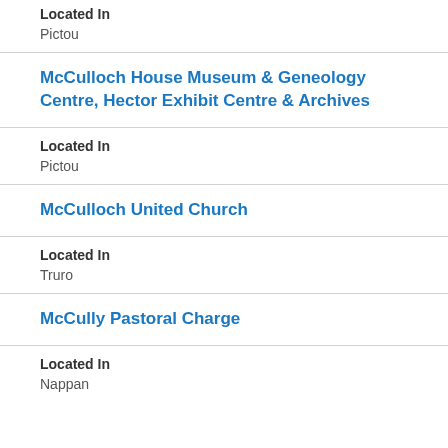Located In
Pictou
McCulloch House Museum & Geneology Centre, Hector Exhibit Centre & Archives
Located In
Pictou
McCulloch United Church
Located In
Truro
McCully Pastoral Charge
Located In
Nappan